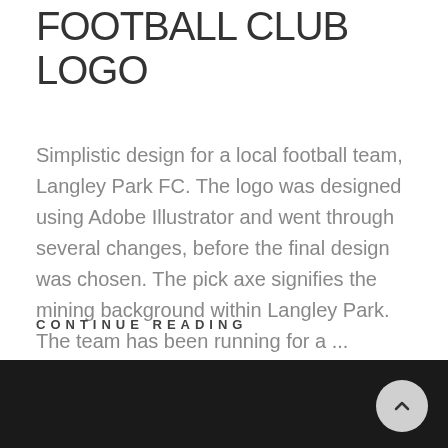FOOTBALL CLUB LOGO
Simplistic design for a local football team, Langley Park FC. The logo was designed using Adobe Illustrator and went through several changes, before the final design was chosen. The pick axe signifies the mining background within Langley Park. The team has been running for a ...
CONTINUE READING